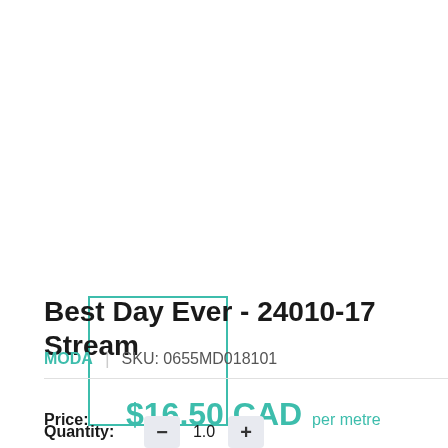[Figure (other): Product image placeholder — teal/turquoise outlined square box with white background]
Best Day Ever - 24010-17 Stream
MODA | SKU: 0655MD018101
Price: $16.50 CAD per metre
Quantity: - 1.0 +